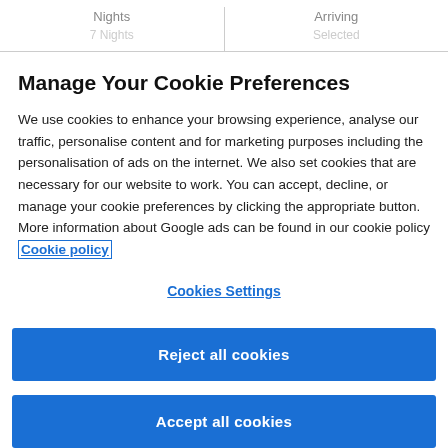Nights | Arriving
Manage Your Cookie Preferences
We use cookies to enhance your browsing experience, analyse our traffic, personalise content and for marketing purposes including the personalisation of ads on the internet. We also set cookies that are necessary for our website to work. You can accept, decline, or manage your cookie preferences by clicking the appropriate button. More information about Google ads can be found in our cookie policy Cookie policy
Cookies Settings
Reject all cookies
Accept all cookies